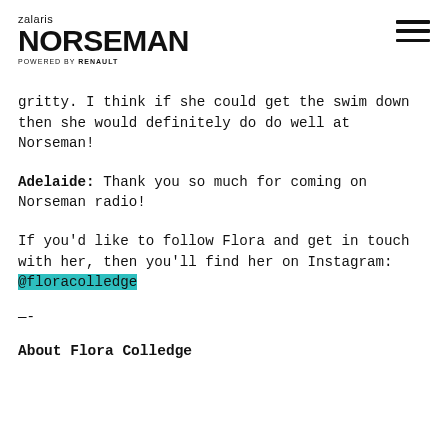zalaris NORSEMAN POWERED BY RENAULT
gritty. I think if she could get the swim down then she would definitely do do well at Norseman!
Adelaide: Thank you so much for coming on Norseman radio!
If you'd like to follow Flora and get in touch with her, then you'll find her on Instagram: @floracolledge
--
About Flora Colledge